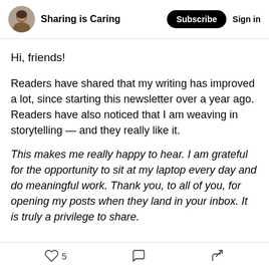Sharing is Caring — Subscribe   Sign in
Hi, friends!
Readers have shared that my writing has improved a lot, since starting this newsletter over a year ago. Readers have also noticed that I am weaving in storytelling — and they really like it.
This makes me really happy to hear. I am grateful for the opportunity to sit at my laptop every day and do meaningful work. Thank you, to all of you, for opening my posts when they land in your inbox. It is truly a privilege to share.
5  [comment icon]  [share icon]